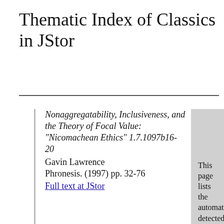Thematic Index of Classics in JStor
Nonaggregatability, Inclusiveness, and the Theory of Focal Value: "Nicomachean Ethics" 1.7.1097b16-20
Gavin Lawrence
Phronesis. (1997) pp. 32-76
Full text at JStor
Article Themes
This page lists the automatically detected themes present in this article. The words shown for each theme reflect the overall content of the theme.